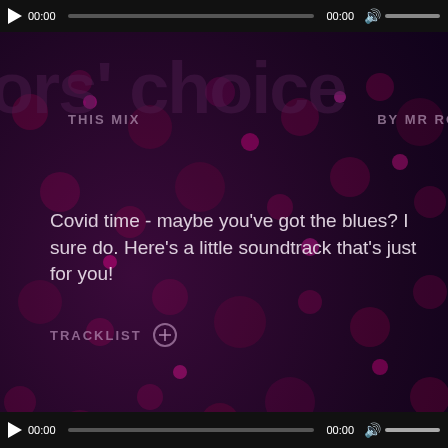[Figure (screenshot): Music streaming page screenshot showing a playlist/mix page with dark purple background, bubble decorations, audio player controls at top and bottom, a ghost text watermark reading 'ors' choice', label 'THIS MIX' and 'BY MR RO...' text, description of a Covid-time blues mix, TRACKLIST section, tags for blues and midnight sessions, a colorful divider strip, and a card showing 'MIDNIGHT SESSIONS - THE PUNKSHOW']